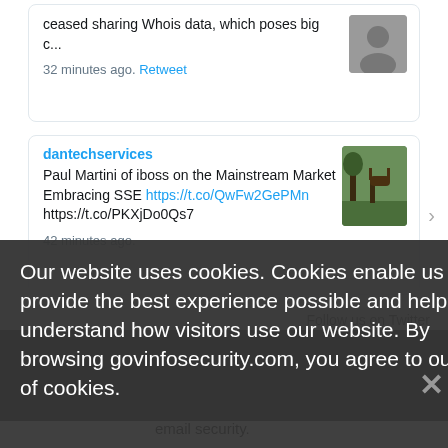ceased sharing Whois data, which poses big c...
32 minutes ago. Retweet
dantechservices
Paul Martini of iboss on the Mainstream Market Embracing SSE https://t.co/QwFw2GePMn https://t.co/PKXjDo0Qs7
42 minutes ago.
Follow us on Twitter
Our website uses cookies. Cookies enable us to provide the best experience possible and help us understand how visitors use our website. By browsing govinfosecurity.com, you agree to our use of cookies.
Abnormal
invoice, payment, and billing account fraud with AI and ML email security.